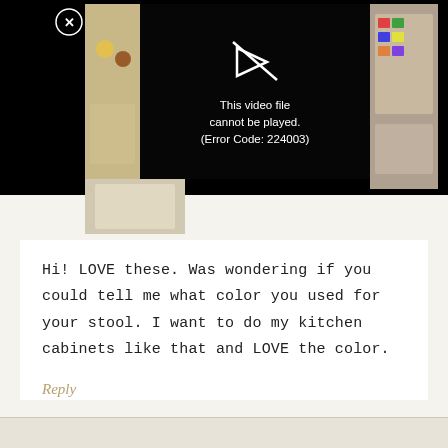[Figure (screenshot): Video player showing error message: 'This video file cannot be played. (Error Code: 224003)' with a play button icon crossed out, overlaid on a thumbnail of craft/art supplies. A close (X) button is visible in the top-left corner.]
Hi! LOVE these. Was wondering if you could tell me what color you used for your stool. I want to do my kitchen cabinets like that and LOVE the color.
Reply